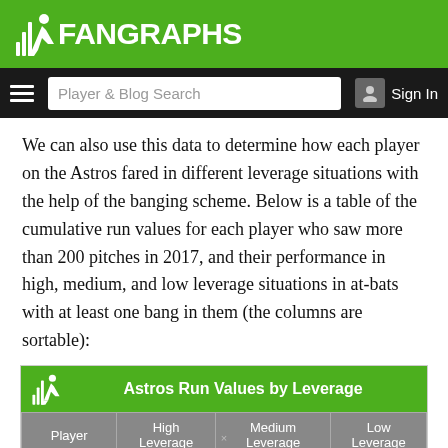FanGraphs
We can also use this data to determine how each player on the Astros fared in different leverage situations with the help of the banging scheme. Below is a table of the cumulative run values for each player who saw more than 200 pitches in 2017, and their performance in high, medium, and low leverage situations in at-bats with at least one bang in them (the columns are sortable):
| Player | High Leverage | Medium Leverage | Low Leverage |
| --- | --- | --- | --- |
| Alex Bregman | 2.36 | -2.41 | 4.06 |